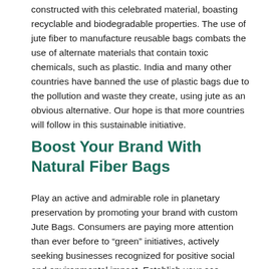constructed with this celebrated material, boasting recyclable and biodegradable properties. The use of jute fiber to manufacture reusable bags combats the use of alternate materials that contain toxic chemicals, such as plastic. India and many other countries have banned the use of plastic bags due to the pollution and waste they create, using jute as an obvious alternative. Our hope is that more countries will follow in this sustainable initiative.
Boost Your Brand With Natural Fiber Bags
Play an active and admirable role in planetary preservation by promoting your brand with custom Jute Bags. Consumers are paying more attention than ever before to “green” initiatives, actively seeking businesses recognized for positive social and environmental impact. Establish your eco-conscious image with sustainable products like Custom Earth Promos’ Jute Bags. Work with an in-house design expert to build an exclusive order of Jute Bags that